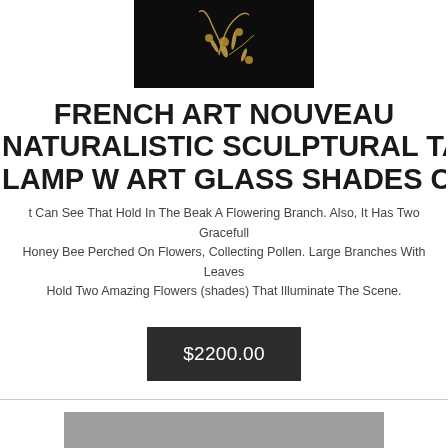[Figure (photo): Dark background photo showing a decorative lamp with golden/bronze naturalistic branches, flowers, and insects.]
FRENCH ART NOUVEAU NATURALISTIC SCULPTURAL TABLE LAMP W ART GLASS SHADES C1905
t Can See That Hold In The Beak A Flowering Branch. Also, It Has Two Gracefull Honey Bee Perched On Flowers, Collecting Pollen. Large Branches With Leaves Hold Two Amazing Flowers (shades) That Illuminate The Scene.
$2200.00
[Figure (photo): Partial view of another product image with gray background.]